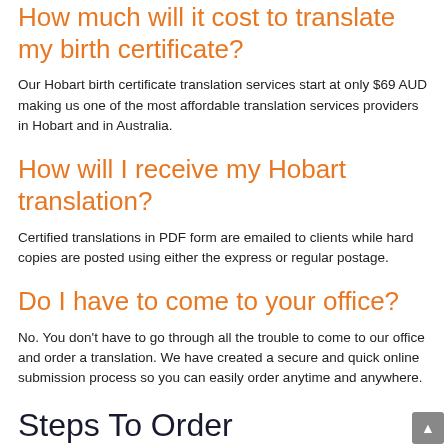How much will it cost to translate my birth certificate?
Our Hobart birth certificate translation services start at only $69 AUD making us one of the most affordable translation services providers in Hobart and in Australia.
How will I receive my Hobart translation?
Certified translations in PDF form are emailed to clients while hard copies are posted using either the express or regular postage.
Do I have to come to your office?
No. You don't have to go through all the trouble to come to our office and order a translation. We have created a secure and quick online submission process so you can easily order anytime and anywhere.
Steps To Order
Our Hobart birth certificate translation services can be summarized